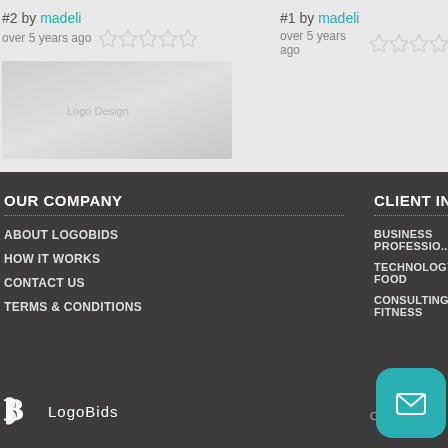#2 by madeli
over 5 years ago
#1 by madeli
over 5 years ago
[Figure (screenshot): Logo design placeholder thumbnails for contest entries]
OUR COMPANY
ABOUT LOGOBIDS
HOW IT WORKS
CONTACT US
TERMS & CONDITIONS
CLIENT INDUSTRIES
BUSINESS  PROFESSIO...
TECHNOLOGY  FOOD
CONSULTING  FITNESS
[Figure (logo): LogoBids logo: stylized B icon with LogoBids text]
Copyright ... is
[Figure (screenshot): Teal mail/envelope button in bottom right corner]